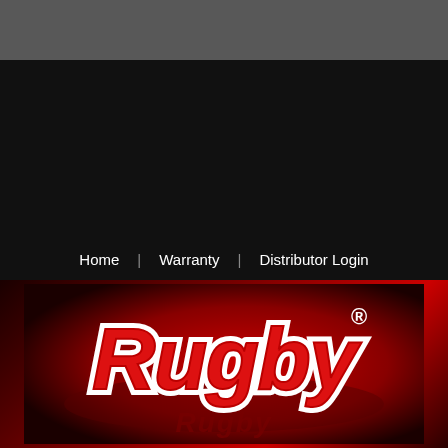[Figure (screenshot): Top dark gray navigation bar area]
Home   Warranty   Distributor Login
[Figure (logo): Rugby brand logo in red cursive lettering with registered trademark symbol on a dark red gradient background]
- Press Releases
NEW GR-4040 For...